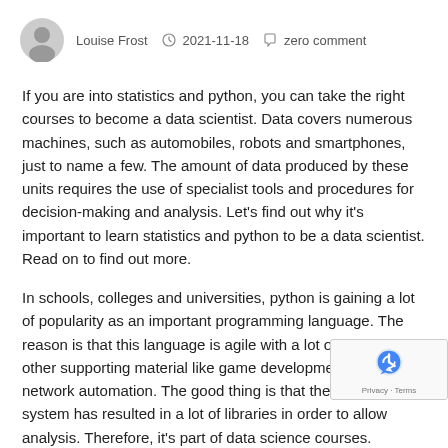Louise Frost  2021-11-18  zero comment
If you are into statistics and python, you can take the right courses to become a data scientist. Data covers numerous machines, such as automobiles, robots and smartphones, just to name a few. The amount of data produced by these units requires the use of specialist tools and procedures for decision-making and analysis. Let's find out why it's important to learn statistics and python to be a data scientist. Read on to find out more.
In schools, colleges and universities, python is gaining a lot of popularity as an important programming language. The reason is that this language is agile with a lot of libraries and other supporting material like game development and network automation. The good thing is that the Python system has resulted in a lot of libraries in order to allow analysis. Therefore, it's part of data science courses.